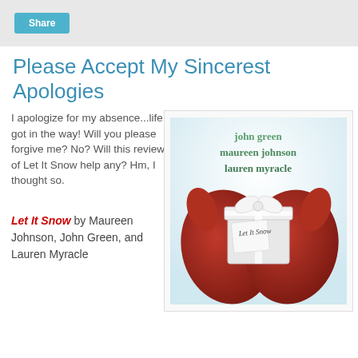Share
Please Accept My Sincerest Apologies
I apologize for my absence...life got in the way! Will you please forgive me? No? Will this review of Let It Snow help any? Hm, I thought so.
Let It Snow by Maureen Johnson, John Green, and Lauren Myracle
[Figure (photo): Book cover of 'Let It Snow' by John Green, Maureen Johnson, and Lauren Myracle. Shows two red mittens holding a white gift box with a bow. Author names appear at top in green text.]